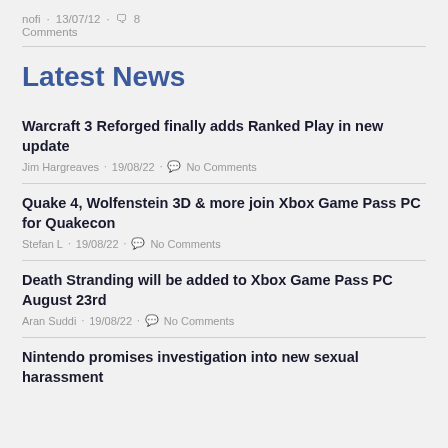nofi · 13/07/12 · 8 Comments
Latest News
Warcraft 3 Reforged finally adds Ranked Play in new update
Jim Hargreaves · 19/08/22 · No Comments
Quake 4, Wolfenstein 3D & more join Xbox Game Pass PC for Quakecon
Stefan L · 19/08/22 · No Comments
Death Stranding will be added to Xbox Game Pass PC August 23rd
Aran Suddi · 19/08/22 · No Comments
Nintendo promises investigation into new sexual harassment